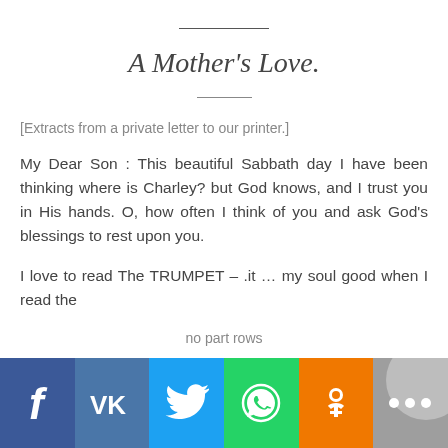A Mother's Love.
[Extracts from a private letter to our printer.]
My Dear Son : This beautiful Sabbath day I have been thinking where is Charley? but God knows, and I trust you in His hands. O, how often I think of you and ask God's blessings to rest upon you.
I love to read The TRUMPET – .it … my soul good when I read the
no part rows
[Figure (other): Social media sharing buttons bar: Facebook (blue), VK (steel blue), Twitter (light blue), WhatsApp (green), Odnoklassniki (orange), More/ellipsis (gray)]